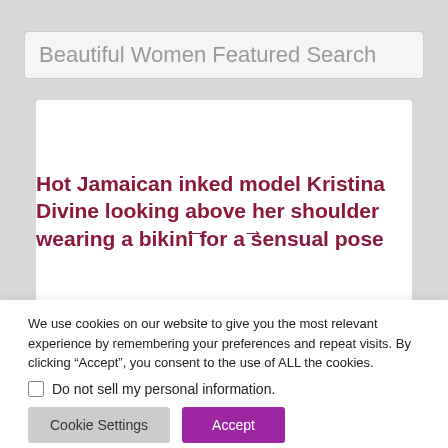Beautiful Women Featured Search
[Figure (screenshot): White card area with navigation arrows (← →) in dark red, and partial article title visible]
Hot Jamaican inked model Kristina Divine looking above her shoulder wearing a bikini for a sensual pose
We use cookies on our website to give you the most relevant experience by remembering your preferences and repeat visits. By clicking “Accept”, you consent to the use of ALL the cookies.
Do not sell my personal information.
Cookie Settings
Accept